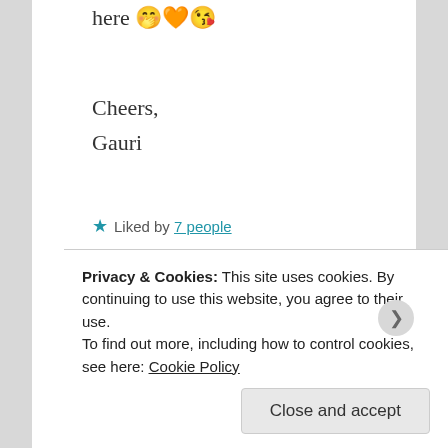here 🤭🧡😘
Cheers,
Gauri
★ Liked by 7 people
Reply
[Figure (photo): User avatar for mirabell showing a beach/ocean scene]
mirabell
JUNE 22, 2019 AT 10:20 PM
Privacy & Cookies: This site uses cookies. By continuing to use this website, you agree to their use.
To find out more, including how to control cookies, see here: Cookie Policy
Close and accept